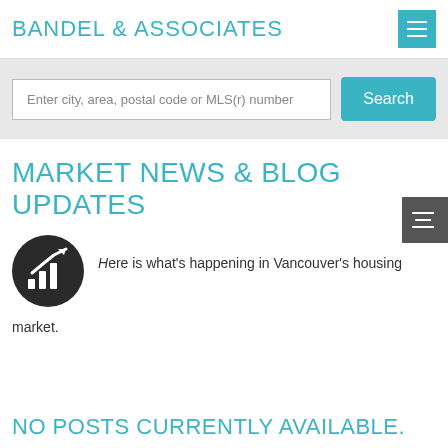BANDEL & ASSOCIATES
Enter city, area, postal code or MLS(r) number
MARKET NEWS & BLOG UPDATES
Here is what's happening in Vancouver's housing market.
NO POSTS CURRENTLY AVAILABLE.